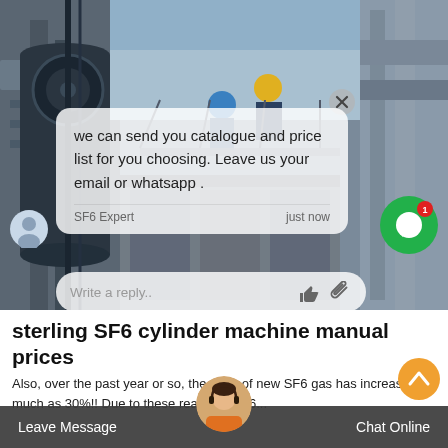[Figure (photo): Background photo of industrial equipment (electrical transformers/substations) with two workers wearing hard hats on a metal structure]
we can send you catalogue and price list for you choosing. Leave us your email or whatsapp .
SF6 Expert    just now
Write a reply..
sterling SF6 cylinder machine manual prices
Also, over the past year or so, the price of new SF6 gas has increased as much as 30%!! Due to these reasons, SF6...